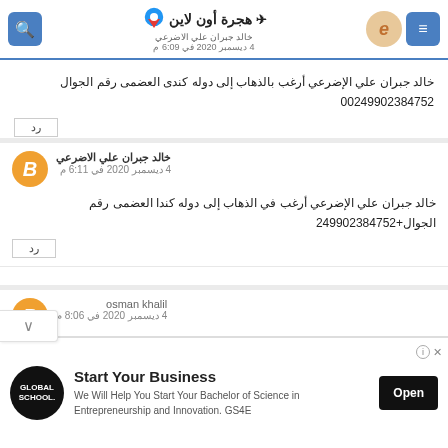هجرة أون لاين - خالد جبران علي الاضرعي - 4 ديسمبر 2020 في 6:09 م
خالد جبران علي الإضرعي أرغب بالذهاب إلى دوله كندى العضمى رقم الجوال 00249902384752
رد
خالد جبران علي الاضرعي
4 ديسمبر 2020 في 6:11 م
خالد جبران علي الإضرعي أرغب في الذهاب إلى دوله كندا العضمى رقم الجوال+249902384752
رد
osman khalil
4 ديسمبر 2020 في 8:06 م
[Figure (screenshot): Ad banner: Start Your Business - Global School - Open button]